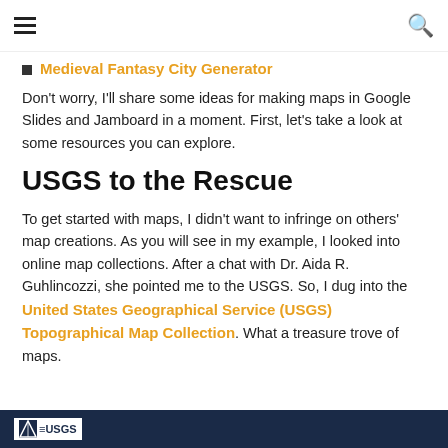≡  🔍
Medieval Fantasy City Generator
Don't worry, I'll share some ideas for making maps in Google Slides and Jamboard in a moment. First, let's take a look at some resources you can explore.
USGS to the Rescue
To get started with maps, I didn't want to infringe on others' map creations. As you will see in my example, I looked into online map collections. After a chat with Dr. Aida R. Guhlincozzi, she pointed me to the USGS. So, I dug into the United States Geographical Service (USGS) Topographical Map Collection. What a treasure trove of maps.
[Figure (logo): USGS logo on dark navy banner at bottom of page]